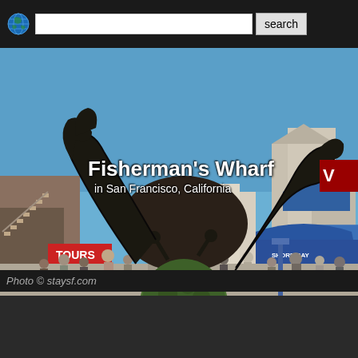search
[Figure (photo): Fisherman's Wharf in San Francisco, California — large metal crab sculpture with claws raised, surrounded by storefronts, tourists, a red TOURS sign, and an aquarium entrance. Blue sky background.]
Fisherman's Wharf
in San Francisco, California
Photo © staysf.com